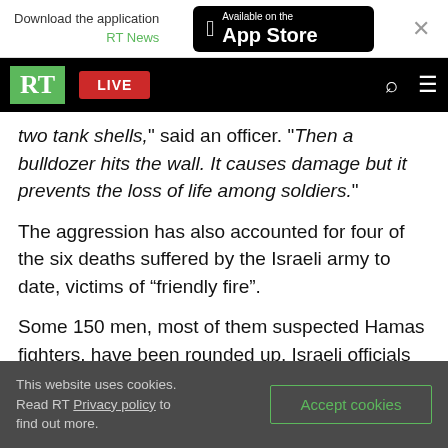Download the application RT News | Available on the App Store
RT | LIVE
two tank shells," said an officer. "Then a bulldozer hits the wall. It causes damage but it prevents the loss of life among soldiers."
The aggression has also accounted for four of the six deaths suffered by the Israeli army to date, victims of “friendly fire”.
Some 150 men, most of them suspected Hamas fighters, have been rounded up, Israeli officials said on Thursday. They were brought in for
This website uses cookies. Read RT Privacy policy to find out more. | Accept cookies